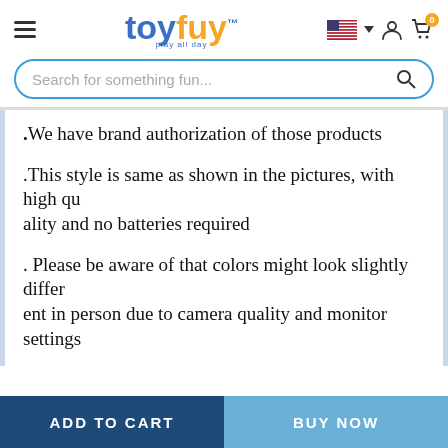[Figure (logo): Toyfuy logo with 'toy' in blue and 'fuy' in yellow/orange, tagline 'play all day', trademark symbol]
[Figure (infographic): Navigation header with hamburger menu, Toyfuy logo, US flag with dropdown, user icon, cart icon with badge showing 0]
Search for something fun...
.We have brand authorization of those products
.This style is same as shown in the pictures, with high quality and no batteries required
. Please be aware of that colors might look slightly different in person due to camera quality and monitor settings
ADD TO CART
BUY NOW